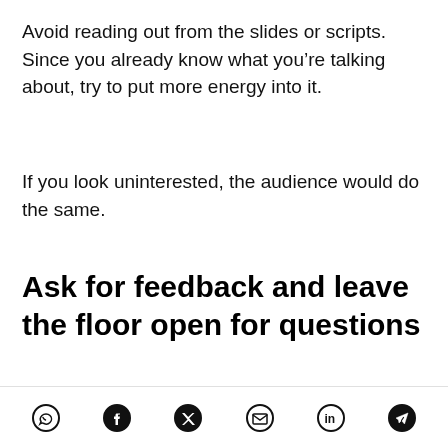Avoid reading out from the slides or scripts. Since you already know what you’re talking about, try to put more energy into it.
If you look uninterested, the audience would do the same.
Ask for feedback and leave the floor open for questions
This would make people more invested, help you
Social share icons: WhatsApp, Facebook, Twitter, Email, LinkedIn, Telegram